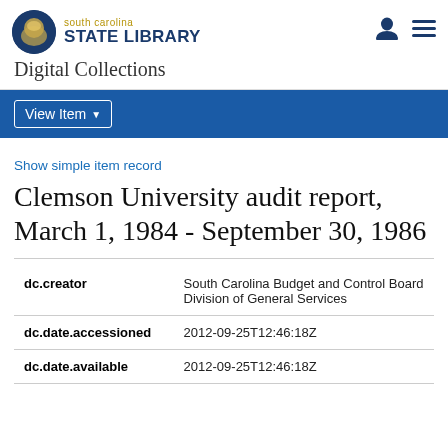south carolina STATE LIBRARY Digital Collections
View Item
Show simple item record
Clemson University audit report, March 1, 1984 - September 30, 1986
| Field | Value |
| --- | --- |
| dc.creator | South Carolina Budget and Control Board Division of General Services |
| dc.date.accessioned | 2012-09-25T12:46:18Z |
| dc.date.available | 2012-09-25T12:46:18Z |